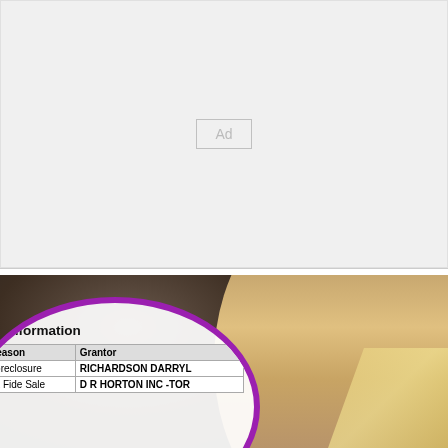[Figure (other): Advertisement placeholder block with light gray background and 'Ad' label in center]
[Figure (photo): Photo of two people, a man and a woman with blonde hair, overlaid with a circular magnified inset showing a real estate sale information table with columns Reason and Grantor; rows include Foreclosure / RICHARDSON DARRYL and Bona Fide Sale / D R HORTON INC -TOR]